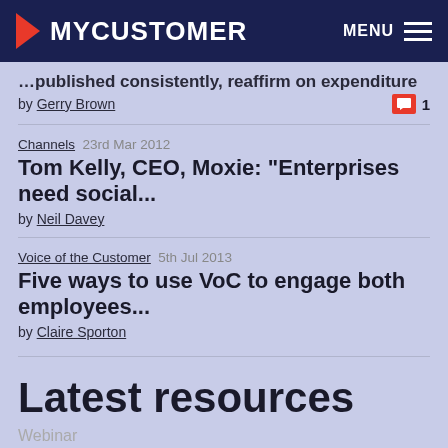MYCUSTOMER  MENU
…published consistently, reaffirm on expenditure
by Gerry Brown  [comment icon] 1
Channels  23rd Mar 2012
Tom Kelly, CEO, Moxie: "Enterprises need social...
by Neil Davey
Voice of the Customer  5th Jul 2013
Five ways to use VoC to engage both employees...
by Claire Sporton
Latest resources
Webinar
How to use AI to anticipate, advise and improve